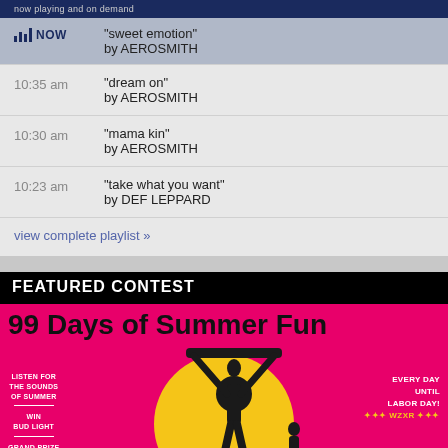now playing and on demand
NOW "sweet emotion" by AEROSMITH
10:35 am "dream on" by AEROSMITH
10:30 am "mama kin" by AEROSMITH
10:23 am "take what you want" by DEF LEPPARD
view complete playlist »
FEATURED CONTEST
[Figure (illustration): 99 Days of Summer Fun contest banner showing surfer silhouettes, a yellow sun circle on pink/red background. Text: LISTEN FOR THE SOUNDS OF SUMMER, WIN BUD LIGHT, GRAND PRIZE BUD LIGHT SUMMER PROMO PACK, EVERY DAY UNTIL LABOR DAY!, WZXR station logo, Kleckner logo.]